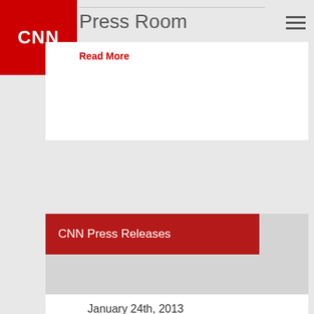[Figure (logo): CNN red logo box in top left corner]
Press Room
Read More
CNN Press Releases
?>
January 24th, 2013